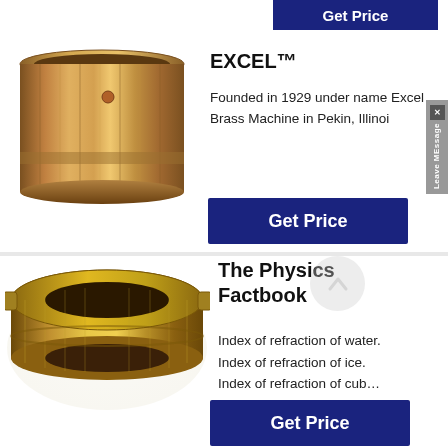[Figure (other): Partial 'Get Price' dark blue button at top right]
[Figure (photo): Brass cylindrical cup/bushing product photo with vertical ridges and copper-gold finish]
EXCEL™
Founded in 1929 under name Excel Brass Machine in Pekin, Illinoi
[Figure (other): Get Price dark blue button]
[Figure (photo): Gold/brass flat ring-shaped bushing or bearing product photo]
The Physics Factbook
Index of refraction of water.
Index of refraction of ice.
Index of refraction of cub…
[Figure (other): Get Price dark blue button at bottom right]
[Figure (other): Leave MEssage sidebar tab on right edge]